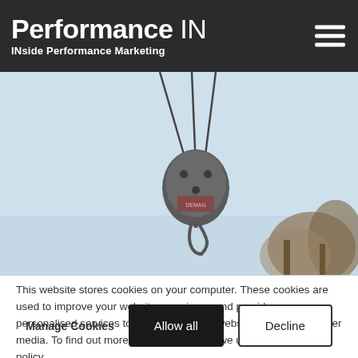Performance IN — INside Performance Marketing
[Figure (photo): Hero image showing a crane hook/pulley mechanism against a light blue sky with trees in the background. Overlaid stamp graphic reads 'AD BLOCKER WEEK SEP 28–OCT 02' in cyan/teal color.]
This website stores cookies on your computer. These cookies are used to improve your website experience and provide more personalised services to you, both on this website and through other media. To find out more about the cookies we use, see our privacy policy.
Manage Cookies   Allow all   Decline